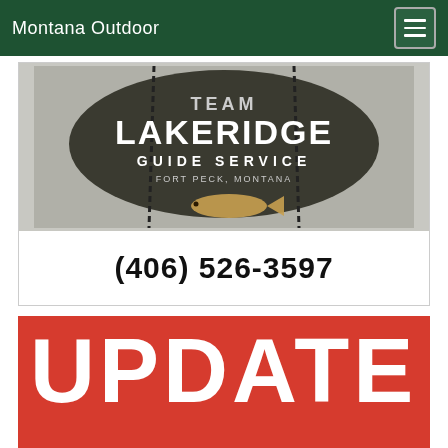Montana Outdoor
[Figure (logo): Team Lakeridge Guide Service logo — circular badge with fish image, text 'TEAM LAKERIDGE GUIDE SERVICE, FORT PECK, MONTANA' on dark background, phone number (406) 526-3597 below]
[Figure (other): Red banner with large white bold text reading 'UPDATE']